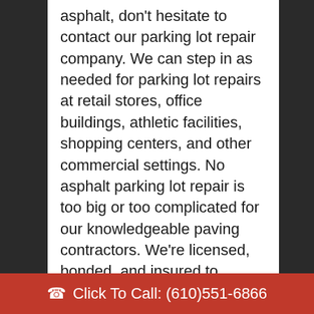asphalt, don't hesitate to contact our parking lot repair company. We can step in as needed for parking lot repairs at retail stores, office buildings, athletic facilities, shopping centers, and other commercial settings. No asphalt parking lot repair is too big or too complicated for our knowledgeable paving contractors. We're licensed, bonded, and insured to provide local businesses with parking lot repair service. We're also available to assist with parking lot repairs on an emergency basis. If you have an urgent
Click To Call: (610)551-6866